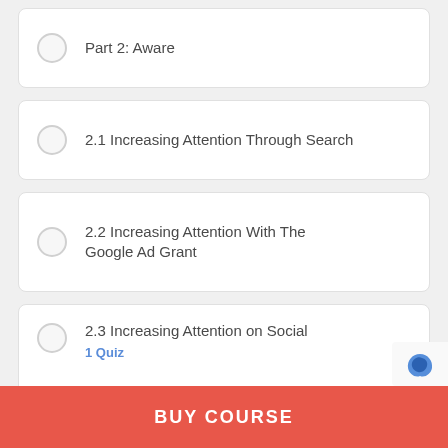Part 2: Aware
2.1 Increasing Attention Through Search
2.2 Increasing Attention With The Google Ad Grant
2.3 Increasing Attention on Social
1 Quiz
BUY COURSE